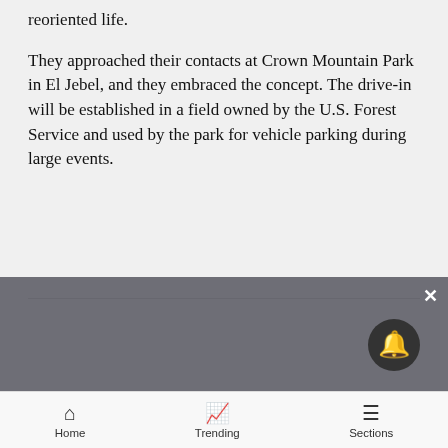reoriented life.
They approached their contacts at Crown Mountain Park in El Jebel, and they embraced the concept. The drive-in will be established in a field owned by the U.S. Forest Service and used by the park for vehicle parking during large events.
The audience will be limited to 150 vehicles with a fee of $10 per vehicle. TACAW secured a 40-foot-by-22-foot screen, so there will not be a bad seat in the house. Cars won't be packed in and people will be required to stay put except to go to the bathroom
Home   Trending   Sections